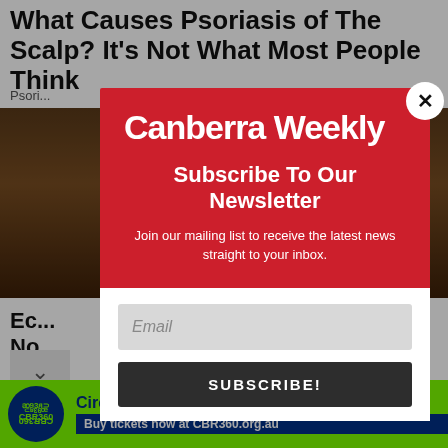What Causes Psoriasis of The Scalp? It's Not What Most People Think
Psori...
[Figure (photo): Background image of dark wood texture]
Ec... No...
[Figure (infographic): Canberra Weekly newsletter subscription popup modal. Red background with white text. Logo reads 'Canberra Weekly'. Heading: 'Subscribe To Our Newsletter'. Subtext: 'Join our mailing list to receive the latest news straight to your inbox.' Email input field and SUBSCRIBE! button below on white background. Close (X) button in top right corner.]
[Figure (infographic): Green advertisement banner for Circular Economy Symposium 2022. CBR360 logo on left. Text: 'Circular Economy Symposium 2022' and 'Buy tickets now at CBR360.org.au' on blue ribbon.]